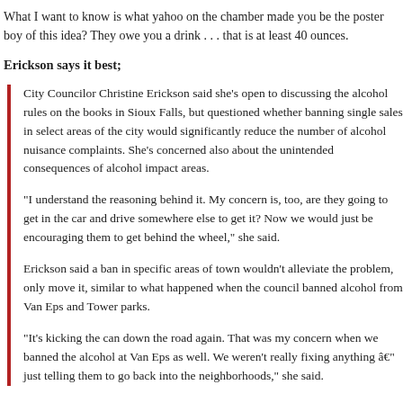What I want to know is what yahoo on the chamber made you be the poster boy of this idea? They owe you a drink . . . that is at least 40 ounces.
Erickson says it best;
City Councilor Christine Erickson said she’s open to discussing the alcohol rules on the books in Sioux Falls, but questioned whether banning single sales in select areas of the city would significantly reduce the number of alcohol nuisance complaints. She’s concerned also about the unintended consequences of alcohol impact areas.

“I understand the reasoning behind it. My concern is, too, are they going to get in the car and drive somewhere else to get it? Now we would just be encouraging them to get behind the wheel,” she said.

Erickson said a ban in specific areas of town wouldn’t alleviate the problem, only move it, similar to what happened when the council banned alcohol from Van Eps and Tower parks.

“It’s kicking the can down the road again. That was my concern when we banned the alcohol at Van Eps as well. We weren’t really fixing anything â just telling them to go back into the neighborhoods,” she said.